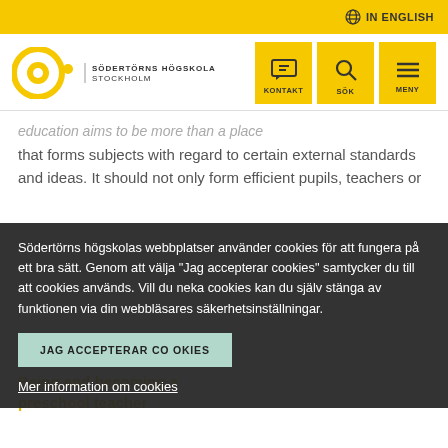IN ENGLISH
[Figure (logo): Södertörns Högskola Stockholm logo with circular target icon in yellow]
education aims to be more than a place that forms subjects with regard to certain external standards and ideas. It should not only form efficient pupils, teachers or future employees but enable persons to become themselves.
Södertörns högskolas webbplatser använder cookies för att fungera på ett bra sätt. Genom att välja "Jag accepterar cookies" samtycker du till att cookies används. Vill du neka cookies kan du själv stänga av funktionen via din webbläsares säkerhetsinställningar.
JAG ACCEPTERAR COOKIES
Mer information om cookies
Being and becoming a preschool teacher